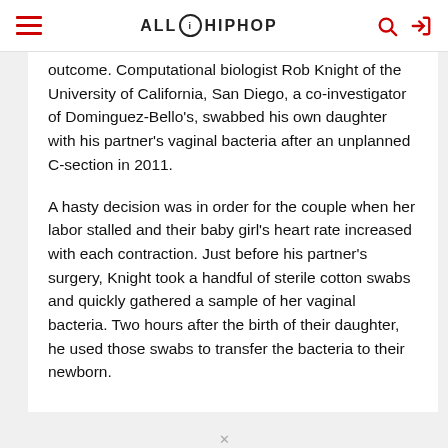AllHipHop
outcome. Computational biologist Rob Knight of the University of California, San Diego, a co-investigator of Dominguez-Bello’s, swabbed his own daughter with his partner’s vaginal bacteria after an unplanned C-section in 2011.
A hasty decision was in order for the couple when her labor stalled and their baby girl’s heart rate increased with each contraction. Just before his partner’s surgery, Knight took a handful of sterile cotton swabs and quickly gathered a sample of her vaginal bacteria. Two hours after the birth of their daughter, he used those swabs to transfer the bacteria to their newborn.